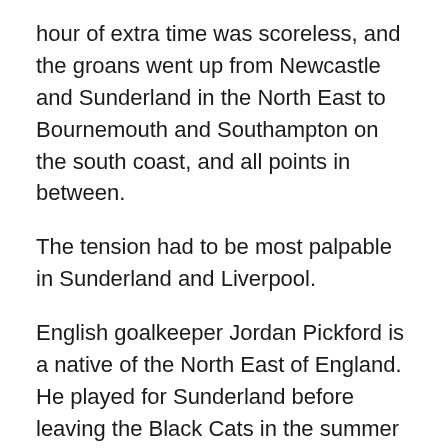hour of extra time was scoreless, and the groans went up from Newcastle and Sunderland in the North East to Bournemouth and Southampton on the south coast, and all points in between.
The tension had to be most palpable in Sunderland and Liverpool.
English goalkeeper Jordan Pickford is a native of the North East of England. He played for Sunderland before leaving the Black Cats in the summer of 2017 after they were relegated out of the Premier League.
Everton, located in Liverpool and the archrival of the world-famous Liverpool Football Club, won the bidding war for Pickford. However, the Toffees were unable to fully take advantage of having Pickford and Wayne Rooney,